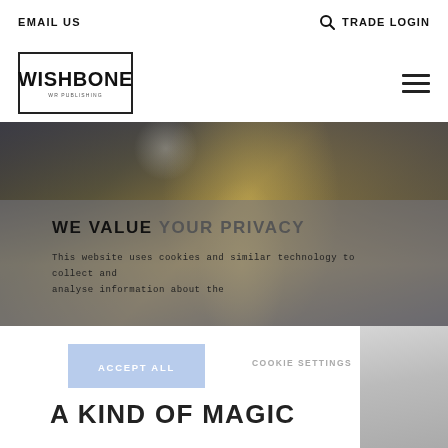EMAIL US | TRADE LOGIN
[Figure (logo): Wishbone Publishing logo — black bordered rectangle with WISHBONE in bold uppercase and 'WR PUBLISHING' subtitle]
[Figure (photo): Blurred hero image of a performer in yellow costume with confetti, dark background]
WE VALUE YOUR PRIVACY
This website uses cookies and similar technology to collect and analyse information about the
ACCEPT ALL
COOKIE SETTINGS
A KIND OF MAGIC